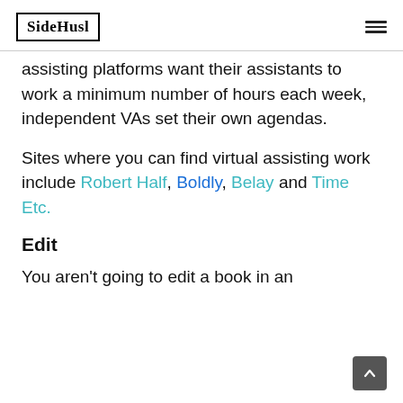SideHusl
assisting platforms want their assistants to work a minimum number of hours each week, independent VAs set their own agendas.
Sites where you can find virtual assisting work include Robert Half, Boldly, Belay and Time Etc.
Edit
You aren't going to edit a book in an